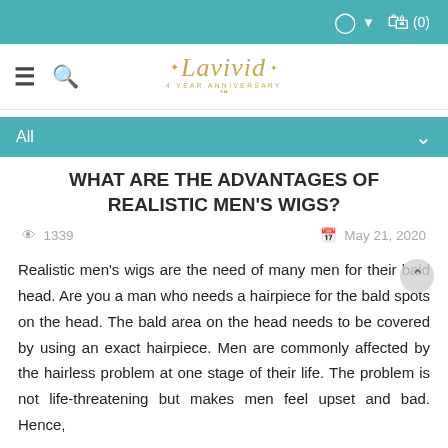Lavivid Hair - navigation header with logo, hamburger menu, search, user icon, cart (0)
All
WHAT ARE THE ADVANTAGES OF REALISTIC MEN'S WIGS?
1339   May 21, 2020
Realistic men's wigs are the need of many men for their bald head. Are you a man who needs a hairpiece for the bald spots on the head. The bald area on the head needs to be covered by using an exact hairpiece. Men are commonly affected by the hairless problem at one stage of their life. The problem is not life-threatening but makes men feel upset and bad. Hence,